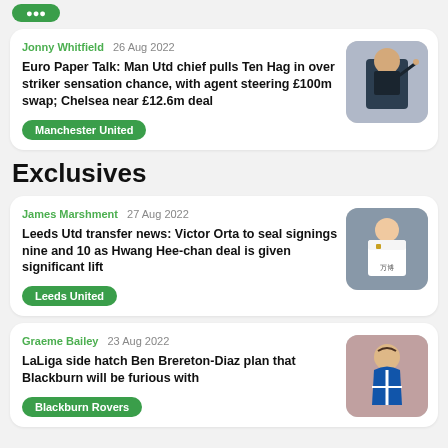Jonny Whitfield  26 Aug 2022
Euro Paper Talk: Man Utd chief pulls Ten Hag in over striker sensation chance, with agent steering £100m swap; Chelsea near £12.6m deal
Manchester United
[Figure (photo): Photo of a football manager in a dark suit pointing, with crowd in background]
Exclusives
James Marshment  27 Aug 2022
Leeds Utd transfer news: Victor Orta to seal signings nine and 10 as Hwang Hee-chan deal is given significant lift
Leeds United
[Figure (photo): Photo of a footballer in a white Wolverhampton Wanderers kit]
Graeme Bailey  23 Aug 2022
LaLiga side hatch Ben Brereton-Diaz plan that Blackburn will be furious with
Blackburn Rovers
[Figure (photo): Photo of a footballer with long dark hair in a blue and white striped kit]